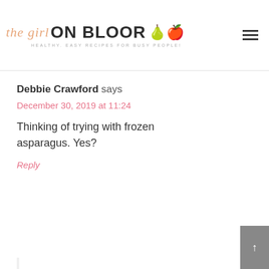the girl ON BLOOR | HEALTHY. EASY RECIPES FOR BUSY PEOPLE!
Debbie Crawford says
December 30, 2019 at 11:24
Thinking of trying with frozen asparagus. Yes?
Reply
Taylor Stinson says
December 30, 2019 at 12:13
Hey Debbie – I honestly would not